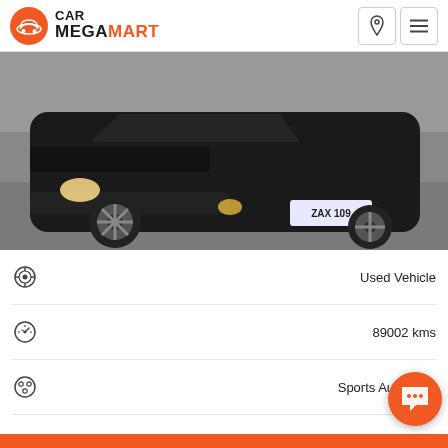[Figure (logo): Car Megamart logo with orange circle icon containing a car silhouette, and text CAR MEGAMART]
[Figure (photo): Black hatchback car (Volkswagen) photographed from the front-left angle showing alloy wheels and license plate ZAX109, on a grey surface]
| Icon | Value |
| --- | --- |
| [steering wheel icon] | Used Vehicle |
| [speedometer icon] | 89002 kms |
| [transmission icon] | Sports Automatic |
| [car body icon] | Hatchback |
| [license plate icon] | ZAX109 |
| [location pin icon] | The Car Connection |
| [phone icon] | 03 9532 |